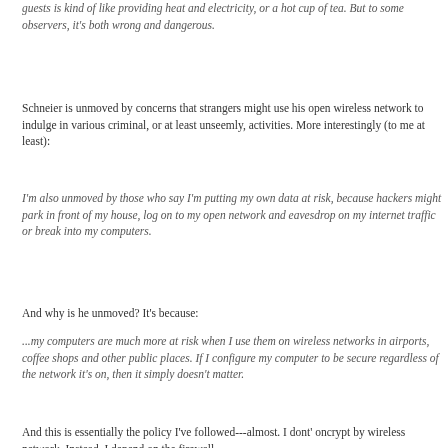guests is kind of like providing heat and electricity, or a hot cup of tea. But to some observers, it's both wrong and dangerous.
Schneier is unmoved by concerns that strangers might use his open wireless network to indulge in various criminal, or at least unseemly, activities. More interestingly (to me at least):
I'm also unmoved by those who say I'm putting my own data at risk, because hackers might park in front of my house, log on to my open network and eavesdrop on my internet traffic or break into my computers.
And why is he unmoved? It's because:
...my computers are much more at risk when I use them on wireless networks in airports, coffee shops and other public places. If I configure my computer to be secure regardless of the network it's on, then it simply doesn't matter.
And this is essentially the policy I've followed---almost. I dont' oncrypt by wireless network. Instead, I depend on the firewall